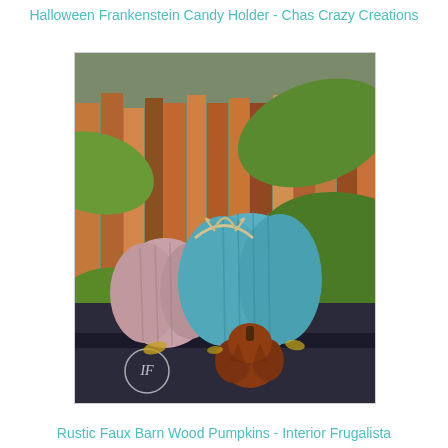Halloween Frankenstein Candy Holder - Chas Crazy Creations
[Figure (photo): Rustic faux barn wood pumpkins in pink and teal/blue colors with twine bows, alongside a small ceramic pumpkin, sitting on a dark bench with large green leaves in the background. Watermark 'IF' visible in lower left corner.]
Rustic Faux Barn Wood Pumpkins - Interior Frugalista